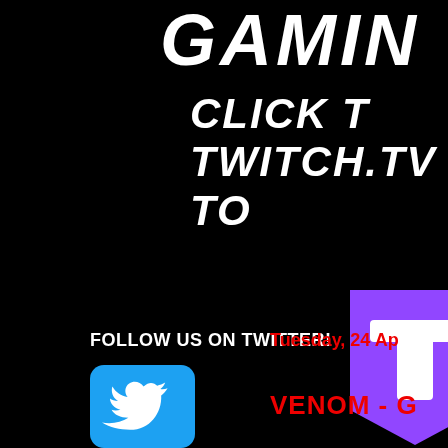GAMIN
CLICK T
TWITCH.TV
TO
[Figure (logo): Twitch.tv purple logo icon, partially visible on right side]
FOLLOW US ON TWITTER!
Tuesday, 24 Ap
[Figure (logo): Twitter bird logo on blue rounded square background]
VENOM - G